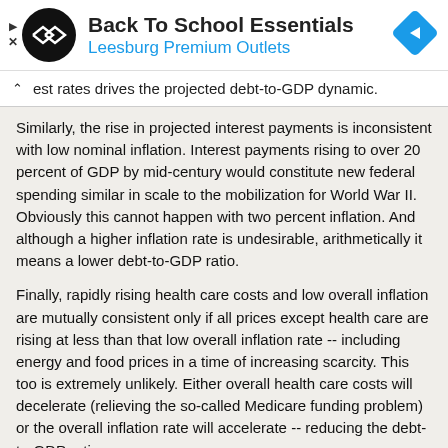[Figure (other): Advertisement banner: Back To School Essentials - Leesburg Premium Outlets, with circular black logo and blue diamond arrow icon]
est rates drives the projected debt-to-GDP dynamic.
Similarly, the rise in projected interest payments is inconsistent with low nominal inflation. Interest payments rising to over 20 percent of GDP by mid-century would constitute new federal spending similar in scale to the mobilization for World War II. Obviously this cannot happen with two percent inflation. And although a higher inflation rate is undesirable, arithmetically it means a lower debt-to-GDP ratio.
Finally, rapidly rising health care costs and low overall inflation are mutually consistent only if all prices except health care are rising at less than that low overall inflation rate -- including energy and food prices in a time of increasing scarcity. This too is extremely unlikely. Either overall health care costs will decelerate (relieving the so-called Medicare funding problem) or the overall inflation rate will accelerate -- reducing the debt-to-GDP ratio.